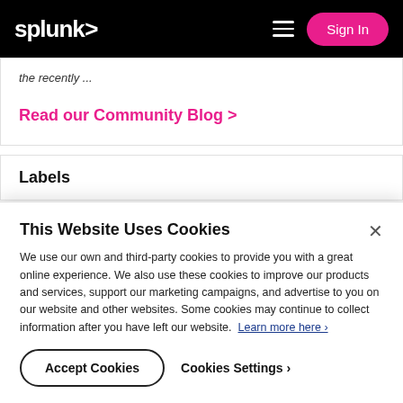splunk> Sign In
the recently ...
Read our Community Blog >
Labels
This Website Uses Cookies
We use our own and third-party cookies to provide you with a great online experience. We also use these cookies to improve our products and services, support our marketing campaigns, and advertise to you on our website and other websites. Some cookies may continue to collect information after you have left our website. Learn more here ›
Accept Cookies
Cookies Settings ›